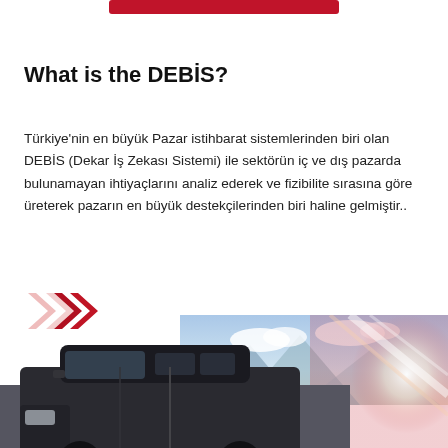[Figure (other): Red button or banner at the top of the page, partially visible]
What is the DEBİS?
Türkiye'nin en büyük Pazar istihbarat sistemlerinden biri olan DEBİS (Dekar İş Zekası Sistemi) ile sektörün iç ve dış pazarda bulunamayan ihtiyaçlarını analiz ederek ve fizibilite sırasına göre üreterek pazarın en büyük destekçilerinden biri haline gelmiştir..
[Figure (illustration): Decorative double chevron arrows in red/pink color, followed by a photo collage showing a dark van/vehicle and a scenic road with mountains and sky with light effects]